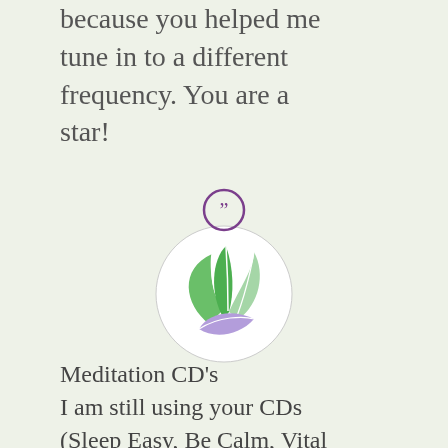because you helped me tune in to a different frequency. You are a star!
[Figure (logo): A purple circle with quotation mark icon above a circular logo containing green and purple leaves on a light background]
Meditation CD's
I am still using your CDs (Sleep Easy, Be Calm, Vital Health, Energise your life) and just adore them. They are my little secret